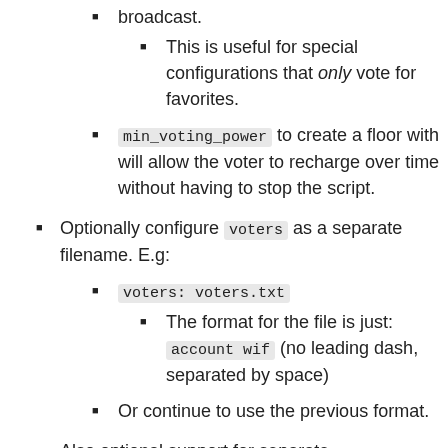broadcast.
This is useful for special configurations that only vote for favorites.
min_voting_power to create a floor with will allow the voter to recharge over time without having to stop the script.
Optionally configure voters as a separate filename. E.g:
voters: voters.txt
The format for the file is just: account wif (no leading dash, separated by space)
Or continue to use the previous format.
Also optional support for separate